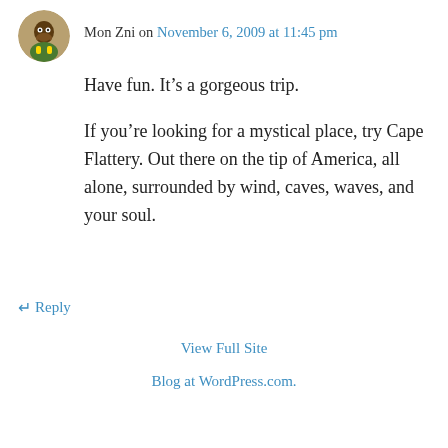Mon Zni on November 6, 2009 at 11:45 pm
Have fun. It’s a gorgeous trip.
If you’re looking for a mystical place, try Cape Flattery. Out there on the tip of America, all alone, surrounded by wind, caves, waves, and your soul.
↵ Reply
View Full Site
Blog at WordPress.com.